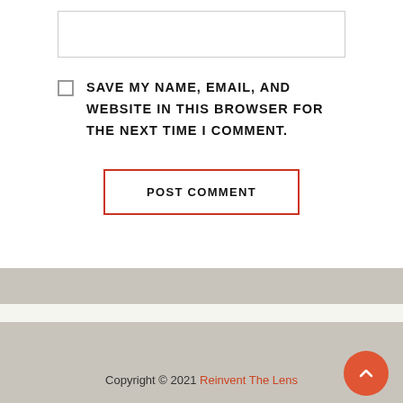[Figure (other): Empty text input box with light gray border]
SAVE MY NAME, EMAIL, AND WEBSITE IN THIS BROWSER FOR THE NEXT TIME I COMMENT.
POST COMMENT
Copyright © 2021 Reinvent The Lens